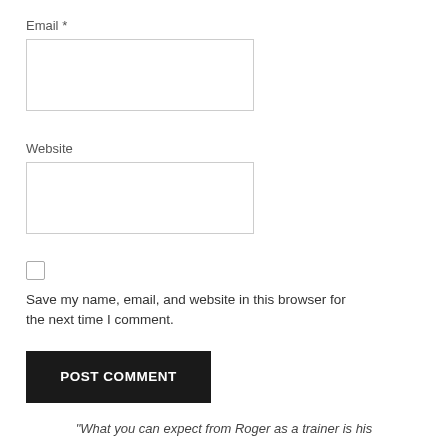Email *
Website
Save my name, email, and website in this browser for the next time I comment.
POST COMMENT
"What you can expect from Roger as a trainer is his